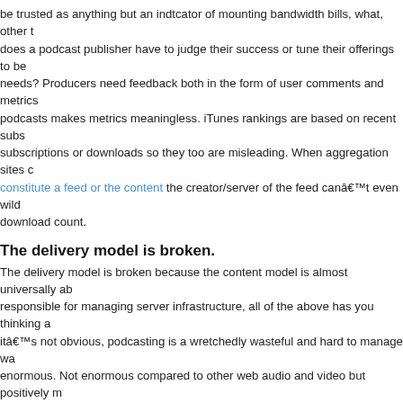be trusted as anything but an indtcator of mounting bandwidth bills, what, other t... does a podcast publisher have to judge their success or tune their offerings to be... needs? Producers need feedback both in the form of user comments and metrics... podcasts makes metrics meaningless. iTunes rankings are based on recent subs... subscriptions or downloads so they too are misleading. When aggregation sites c... constitute a feed or the content the creator/server of the feed canât even wild... download count.
The delivery model is broken.
The delivery model is broken because the content model is almost universally ab... responsible for managing server infrastructure, all of the above has you thinking a... itâs not obvious, podcasting is a wretchedly wasteful and hard to manage wa... enormous. Not enormous compared to other web audio and video but positively m... graphics and/or Flash the content most podcasts really should be delivered in. Th... users pull down enourmous wads of data they canât possibly be actually usin... files is done by automated clients means traffic can be oddly spiky (though well d... This is fine if youâre a broadcaster and your users are using a DVR to record... Bunch off air or cable but on the internet (absent workable I.P. multicast [Hah!]) it... Thereâs no method for meta-file handling and file types are, for reasons of gu... themost common client applications and the iPod, restricted to .mp3 and .m4v. W... progressive or “fast start”) media, you can use metafiles to arbitrate different vers... tuned both for your clientâs available bandwidth and to manage your own bar... been matured enough to, usually, leave useful referrer data, user agent strings ar... clients donât do these things to even the fragmented and broken extent that b... the screwiness created by all the various aggrators and “portals” replicating the fe... the servers to tune bandwidth utilization or optimize for user experience. If a user...